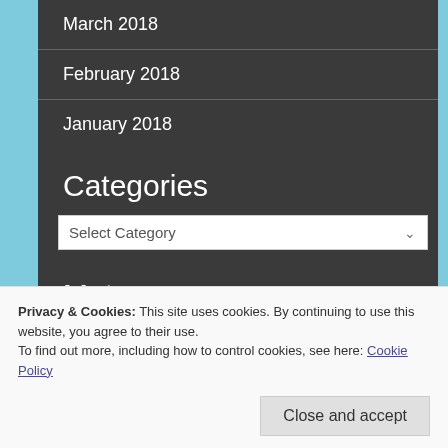March 2018
February 2018
January 2018
Categories
Select Category
Meta
Register
Privacy & Cookies: This site uses cookies. By continuing to use this website, you agree to their use.
To find out more, including how to control cookies, see here: Cookie Policy
Close and accept